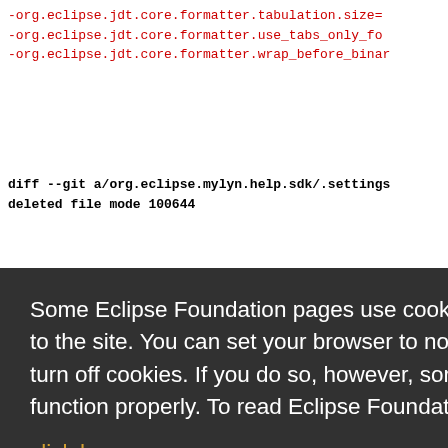-org.eclipse.jdt.core.formatter.tabulation.size=
-org.eclipse.jdt.core.formatter.use_tabs_only_fo
-org.eclipse.jdt.core.formatter.wrap_before_binar
diff --git a/org.eclipse.mylyn.help.sdk/.settings
deleted file mode 100644
gs/org.ec
.ui.posts
se
true
rue
plates=<
sp.cleanup.add_default_serial_version_id=tru
Some Eclipse Foundation pages use cookies to better serve you when you return to the site. You can set your browser to notify you before you receive a cookie or turn off cookies. If you do so, however, some areas of some sites may not function properly. To read Eclipse Foundation Privacy Policy
click here.
Decline
Allow cookies